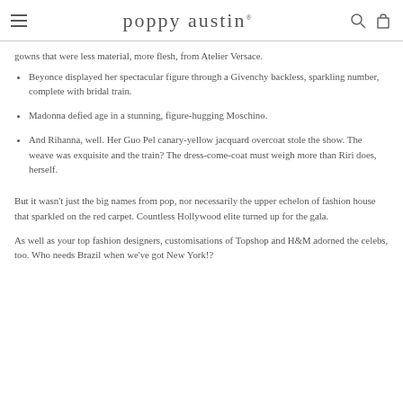poppy austin
gowns that were less material, more flesh, from Atelier Versace.
Beyonce displayed her spectacular figure through a Givenchy backless, sparkling number, complete with bridal train.
Madonna defied age in a stunning, figure-hugging Moschino.
And Rihanna, well. Her Guo Pel canary-yellow jacquard overcoat stole the show. The weave was exquisite and the train? The dress-come-coat must weigh more than Riri does, herself.
But it wasn't just the big names from pop, nor necessarily the upper echelon of fashion house that sparkled on the red carpet. Countless Hollywood elite turned up for the gala.
As well as your top fashion designers, customisations of Topshop and H&M adorned the celebs, too. Who needs Brazil when we've got New York!?